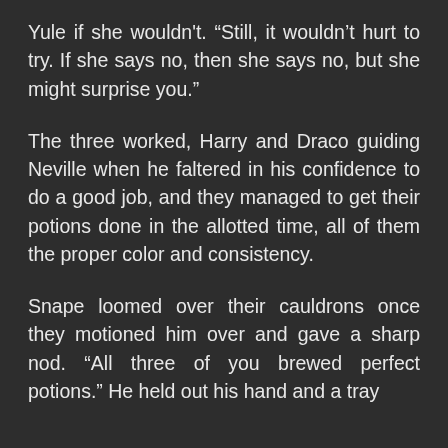Yule if she wouldn't. “Still, it wouldn’t hurt to try. If she says no, then she says no, but she might surprise you.”
The three worked, Harry and Draco guiding Neville when he faltered in his confidence to do a good job, and they managed to get their potions done in the allotted time, all of them the proper color and consistency.
Snape loomed over their cauldrons once they motioned him over and gave a sharp nod. “All three of you brewed perfect potions.” He held out his hand and a tray